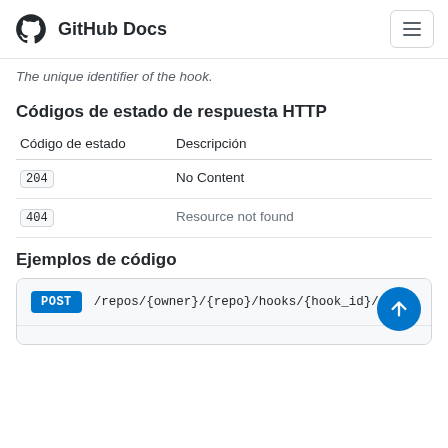GitHub Docs
The unique identifier of the hook.
Códigos de estado de respuesta HTTP
| Código de estado | Descripción |
| --- | --- |
| 204 | No Content |
| 404 | Resource not found |
Ejemplos de código
POST /repos/{owner}/{repo}/hooks/{hook_id}/t…